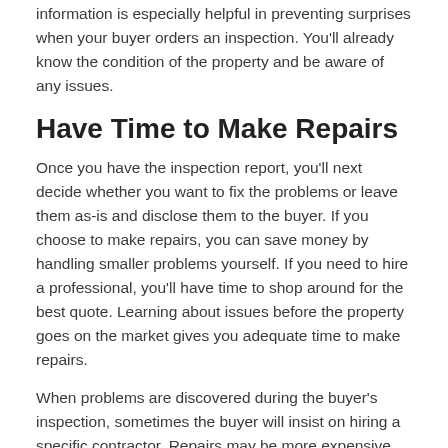information is especially helpful in preventing surprises when your buyer orders an inspection. You’ll already know the condition of the property and be aware of any issues.
Have Time to Make Repairs
Once you have the inspection report, you’ll next decide whether you want to fix the problems or leave them as-is and disclose them to the buyer. If you choose to make repairs, you can save money by handling smaller problems yourself. If you need to hire a professional, you’ll have time to shop around for the best quote. Learning about issues before the property goes on the market gives you adequate time to make repairs.
When problems are discovered during the buyer’s inspection, sometimes the buyer will insist on hiring a specific contractor. Repairs may be more expensive and you’ll have a deadline to get the work completed before closing. An advantage of conducting a pre-listing home